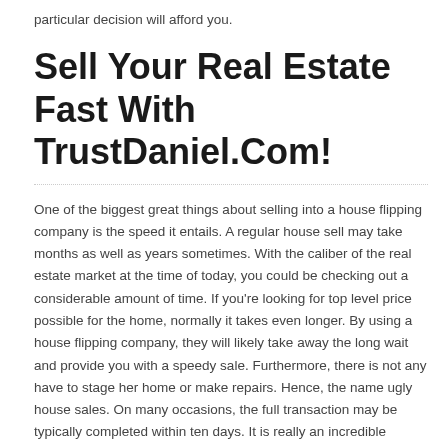particular decision will afford you.
Sell Your Real Estate Fast With TrustDaniel.Com!
One of the biggest great things about selling into a house flipping company is the speed it entails. A regular house sell may take months as well as years sometimes. With the caliber of the real estate market at the time of today, you could be checking out a considerable amount of time. If you're looking for top level price possible for the home, normally it takes even longer. By using a house flipping company, they will likely take away the long wait and provide you with a speedy sale. Furthermore, there is not any have to stage her home or make repairs. Hence, the name ugly house sales. On many occasions, the full transaction may be typically completed within ten days. It is really an incredible benefit if you require immediate